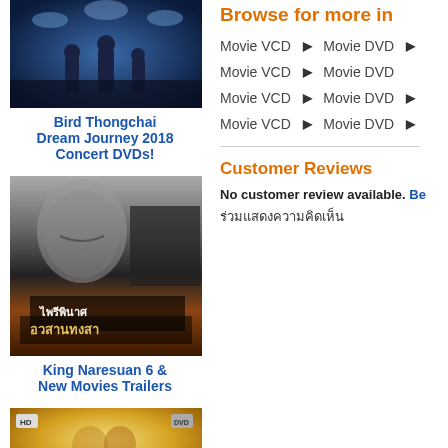[Figure (photo): Concert photo with performers on stage in blue lighting]
Bird Thongchai Dream Journey 2018 Concert DVDs!
[Figure (photo): King Naresuan 6 movie poster - black and white face close-up with Thai text]
King Naresuan 6 & New Movies Trailers
[Figure (photo): Romance movie HD cover with couple in golden light]
Browse for more in
Movie VCD  >  Movie DVD  >
Movie VCD  >  Movie DVD
Movie VCD  >  Movie DVD  >
Movie VCD  >  Movie DVD  >
Customer Reviews
No customer review available. Be
ร่วมแสดงความคิดเห็น